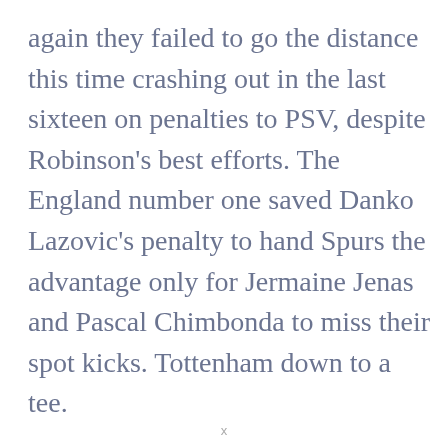again they failed to go the distance this time crashing out in the last sixteen on penalties to PSV, despite Robinson's best efforts. The England number one saved Danko Lazovic's penalty to hand Spurs the advantage only for Jermaine Jenas and Pascal Chimbonda to miss their spot kicks. Tottenham down to a tee.
x